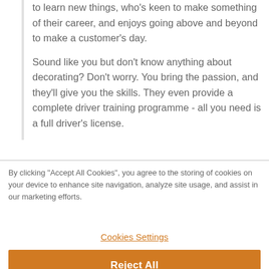to learn new things, who's keen to make something of their career, and enjoys going above and beyond to make a customer's day.
Sound like you but don't know anything about decorating? Don't worry. You bring the passion, and they'll give you the skills. They even provide a complete driver training programme - all you need is a full driver's license.
By clicking “Accept All Cookies”, you agree to the storing of cookies on your device to enhance site navigation, analyze site usage, and assist in our marketing efforts.
Cookies Settings
Reject All